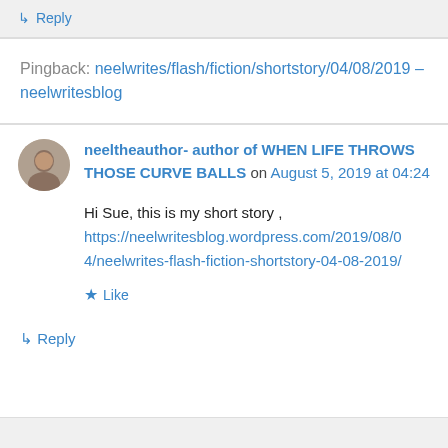↳ Reply
Pingback: neelwrites/flash/fiction/shortstory/04/08/2019 – neelwritesblog
neeltheauthor- author of WHEN LIFE THROWS THOSE CURVE BALLS on August 5, 2019 at 04:24
Hi Sue, this is my short story , https://neelwritesblog.wordpress.com/2019/08/04/neelwrites-flash-fiction-shortstory-04-08-2019/
Like
↳ Reply